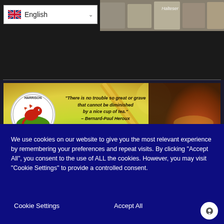[Figure (screenshot): Language selector dropdown showing British flag and 'English' text with chevron, and a partial image of stacked products (tea boxes) in the top right area of the page header]
[Figure (photo): Harrison Tea banner image showing the Harrison Tea logo (dragon on green hill circle), a quote 'There is no trouble so great or grave that cannot be diminished by a nice cup of tea. - Bernard-Paul Heroux', and a photo of tea being poured into a glass cup]
We use cookies on our website to give you the most relevant experience by remembering your preferences and repeat visits. By clicking “Accept All”, you consent to the use of ALL the cookies. However, you may visit "Cookie Settings" to provide a controlled consent.
Cookie Settings
Accept All